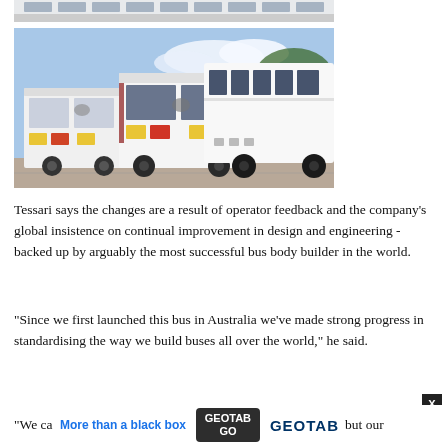[Figure (photo): Partial top view of white bus (cropped at top of page)]
[Figure (photo): Two white luxury coaches/buses photographed from the rear-side angle in a parking lot with trees and blue sky in background]
Tessari says the changes are a result of operator feedback and the company’s global insistence on continual improvement in design and engineering - backed up by arguably the most successful bus body builder in the world.
"Since we first launched this bus in Australia we've made strong progress in standardising the way we build buses all over the world," he said.
"We ca                                                        but our
[Figure (advertisement): Geotab GO advertisement banner with text 'More than a black box', Geotab GO device image, and GEOTAB logo]